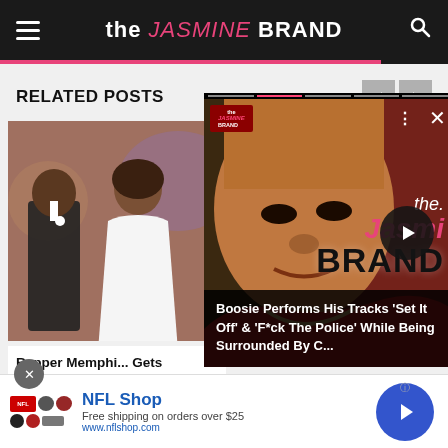the JASMINE BRAND
RELATED POSTS
[Figure (photo): Wedding photo showing a couple dressed in formal attire — man in tuxedo and woman in white wedding dress]
Rapper Memph... Gets Hitched, J... Attends [Photos]
[Figure (screenshot): Video player screenshot showing rapper Boosie in red jacket, with the Jasmine Brand watermark overlay]
Boosie Performs His Tracks 'Set It Off' & 'F*ck The Police' While Being Surrounded By C...
[Figure (other): NFL Shop advertisement banner with NFL logo, helmets, brand name, tagline 'Free shipping on orders over $25', URL www.nflshop.com, and call-to-action button]